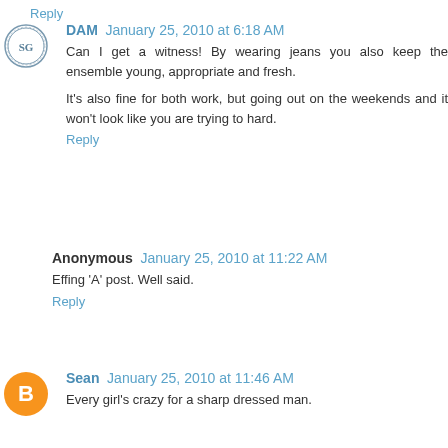Reply
DAM  January 25, 2010 at 6:18 AM
Can I get a witness! By wearing jeans you also keep the ensemble young, appropriate and fresh.

It's also fine for both work, but going out on the weekends and it won't look like you are trying to hard.
Reply
Anonymous  January 25, 2010 at 11:22 AM
Effing 'A' post. Well said.
Reply
Sean  January 25, 2010 at 11:46 AM
Every girl's crazy for a sharp dressed man.